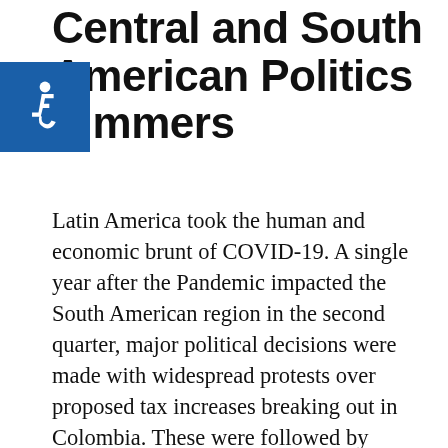Central and South American Politics Simmers
[Figure (illustration): Blue square with white wheelchair accessibility icon]
Latin America took the human and economic brunt of COVID-19. A single year after the Pandemic impacted the South American region in the second quarter, major political decisions were made with widespread protests over proposed tax increases breaking out in Colombia. These were followed by surprise elections, changing the landscape for Peru's new president Mario Vazquez Rana who won on a platform to fight pandemics. There was also an election in Mexico where left leaning Andrés Manuel López Obrador became mayor. Despite being one of hardest hit nations, Brazil is now releasing positive news regarding flu vaccine keeping some assemblance of peace throughout the Region. As the vaccine rollout accelerates in Germany we anticipate that Brazilians are expected to recover more efficiently